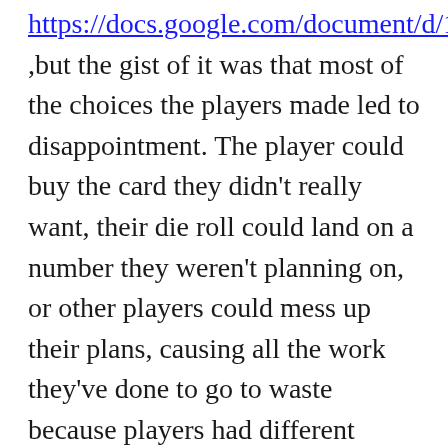https://docs.google.com/document/d/15d1C0JkLhON7Q_LbQxxd4MaGUpk7prubErGLiqMFg90/edit ,but the gist of it was that most of the choices the players made led to disappointment. The player could buy the card they didn't really want, their die roll could land on a number they weren't planning on, or other players could mess up their plans, causing all the work they've done to go to waste because players had different goals.
The third playtest involved three players from my board game group (who never played the game before) on Tabletop Simulator (a computer application that allows players to play board games online). These players were familiar with the